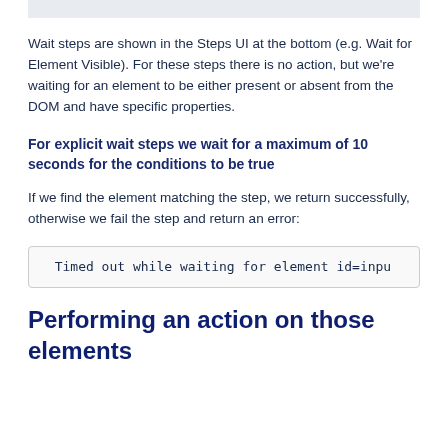Wait steps are shown in the Steps UI at the bottom (e.g. Wait for Element Visible). For these steps there is no action, but we're waiting for an element to be either present or absent from the DOM and have specific properties.
For explicit wait steps we wait for a maximum of 10 seconds for the conditions to be true
If we find the element matching the step, we return successfully, otherwise we fail the step and return an error:
Timed out while waiting for element id=inpu
Performing an action on those elements